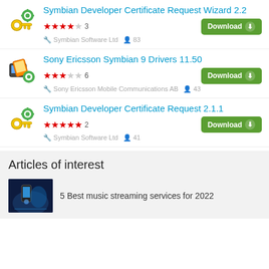Symbian Developer Certificate Request Wizard 2.2 — 4/5 stars, 3 ratings, Symbian Software Ltd, 83 users
Sony Ericsson Symbian 9 Drivers 11.50 — 3.5/5 stars, 6 ratings, Sony Ericsson Mobile Communications AB, 43 users
Symbian Developer Certificate Request 2.1.1 — 5/5 stars, 2 ratings, Symbian Software Ltd, 41 users
Articles of interest
5 Best music streaming services for 2022